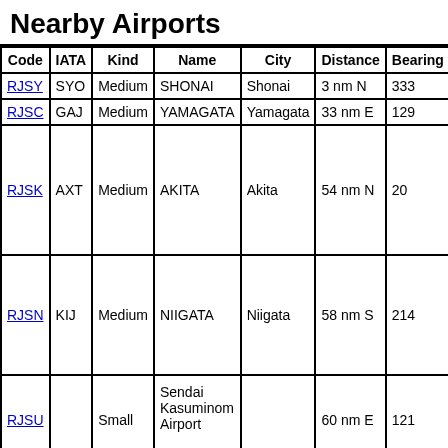Nearby Airports
| Code | IATA | Kind | Name | City | Distance | Bearing |
| --- | --- | --- | --- | --- | --- | --- |
| RJSY | SYO | Medium | SHONAI | Shonai | 3 nm N | 333 |
| RJSC | GAJ | Medium | YAMAGATA | Yamagata | 33 nm E | 129 |
| RJSK | AXT | Medium | AKITA | Akita | 54 nm N | 20 |
| RJSN | KIJ | Medium | NIIGATA | Niigata | 58 nm S | 214 |
| RJSU |  | Small | Sendai Kasuminom Airport |  | 60 nm E | 121 |
Nearby references in Wikipedia:
Distance    Title
1.8 nm  SE  Tomagake Station